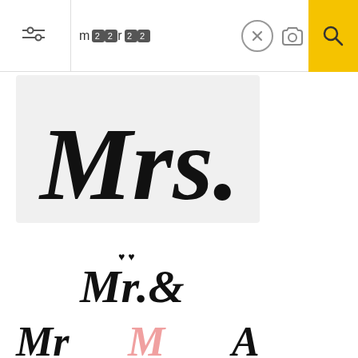[Figure (screenshot): Mobile app search bar with filter icon, search input showing 'm❷❷r❷❷', X button, camera icon, and yellow search button]
[Figure (illustration): Partial 'Mrs.' calligraphy text in cursive black script on light gray background, cropped at top]
[Figure (illustration): Mr. & Mrs. calligraphy lettering in black cursive script with small hearts]
[Figure (illustration): Grid of wedding calligraphy clipart stickers: Mr & Mrs, Happy Day, Thank You, Just Married, Just Married together forever, The Wedding (in red), Save the Date, You are invited, rsvp, Mr Right Mrs Always Right, Adventure Begins, rsvp oval, Mr & Mrs]
[Figure (illustration): Bottom partial view of more wedding clipart images, partially cropped]